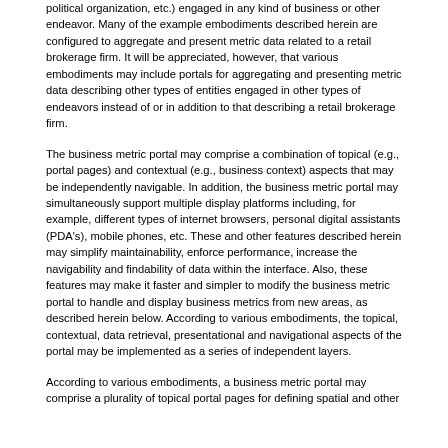political organization, etc.) engaged in any kind of business or other endeavor. Many of the example embodiments described herein are configured to aggregate and present metric data related to a retail brokerage firm. It will be appreciated, however, that various embodiments may include portals for aggregating and presenting metric data describing other types of entities engaged in other types of endeavors instead of or in addition to that describing a retail brokerage firm.
The business metric portal may comprise a combination of topical (e.g., portal pages) and contextual (e.g., business context) aspects that may be independently navigable. In addition, the business metric portal may simultaneously support multiple display platforms including, for example, different types of internet browsers, personal digital assistants (PDA's), mobile phones, etc. These and other features described herein may simplify maintainability, enforce performance, increase the navigability and findability of data within the interface. Also, these features may make it faster and simpler to modify the business metric portal to handle and display business metrics from new areas, as described herein below. According to various embodiments, the topical, contextual, data retrieval, presentational and navigational aspects of the portal may be implemented as a series of independent layers.
According to various embodiments, a business metric portal may comprise a plurality of topical portal pages for defining spatial and other